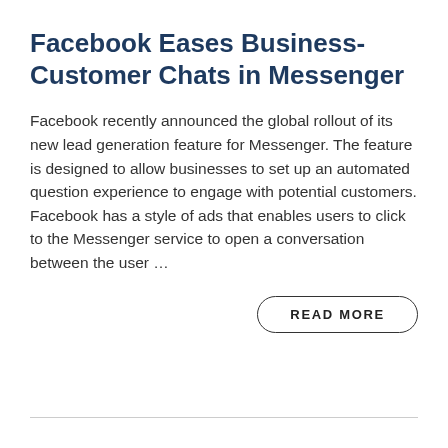Facebook Eases Business-Customer Chats in Messenger
Facebook recently announced the global rollout of its new lead generation feature for Messenger. The feature is designed to allow businesses to set up an automated question experience to engage with potential customers. Facebook has a style of ads that enables users to click to the Messenger service to open a conversation between the user ...
READ MORE